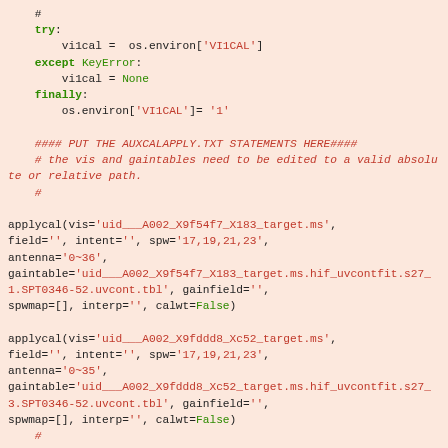# try: vi1cal = os.environ['VI1CAL'] except KeyError: vi1cal = None finally: os.environ['VI1CAL']= '1' #### PUT THE AUXCALAPPLY.TXT STATEMENTS HERE#### # the vis and gaintables need to be edited to a valid absolute or relative path. # applycal(vis='uid___A002_X9f54f7_X183_target.ms', field='', intent='', spw='17,19,21,23', antenna='0~36', gaintable='uid___A002_X9f54f7_X183_target.ms.hif_uvcontfit.s27_1.SPT0346-52.uvcont.tbl', gainfield='', spwmap=[], interp='', calwt=False) applycal(vis='uid___A002_X9fddd8_Xc52_target.ms', field='', intent='', spw='17,19,21,23', antenna='0~35', gaintable='uid___A002_X9fddd8_Xc52_target.ms.hif_uvcontfit.s27_3.SPT0346-52.uvcont.tbl', gainfield='', spwmap=[], interp='', calwt=False) # #### END AUXCALAPPLY STATEMENTS #### finally: h_save()